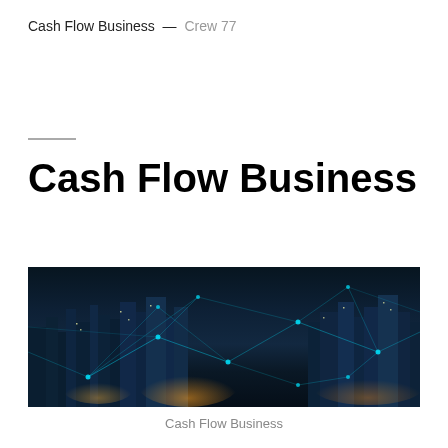Cash Flow Business — Crew 77
Cash Flow Business
[Figure (photo): Aerial night cityscape with cyan digital network overlay connecting nodes across the city skyline]
Cash Flow Business